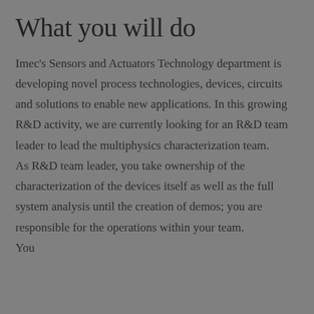What you will do
Imec's Sensors and Actuators Technology department is developing novel process technologies, devices, circuits and solutions to enable new applications. In this growing R&D activity, we are currently looking for an R&D team leader to lead the multiphysics characterization team.
As R&D team leader, you take ownership of the characterization of the devices itself as well as the full system analysis until the creation of demos; you are responsible for the operations within your team.
You are...